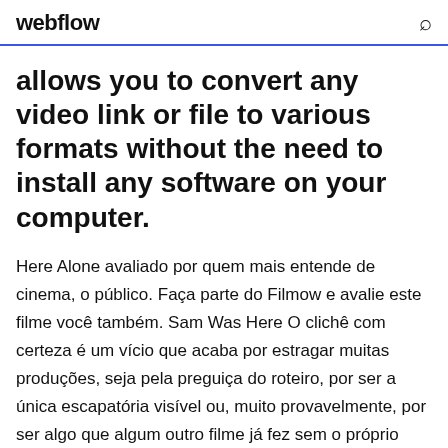webflow
allows you to convert any video link or file to various formats without the need to install any software on your computer.
Here Alone avaliado por quem mais entende de cinema, o público. Faça parte do Filmow e avalie este filme você também. Sam Was Here O clichê com certeza é um vício que acaba por estragar muitas produções, seja pela preguiça do roteiro, por ser a única escapatória visível ou, muito provavelmente, por ser algo que algum outro filme já fez sem o próprio diretor saber, afinal, este mundo é gigantesco. Um